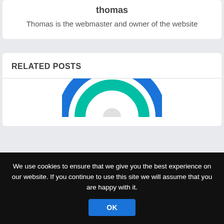thomas
Thomas is the webmaster and owner of the website
RELATED POSTS
[Figure (illustration): Partial view of a donut/ring shaped logo with blue outer ring and teal/green inner ring, cut off at bottom of visible area]
We use cookies to ensure that we give you the best experience on our website. If you continue to use this site we will assume that you are happy with it.
OK